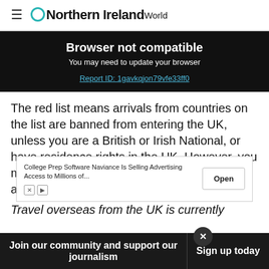Northern Ireland World
Browser not compatible
You may need to update your browser
Report ID: 1gavkqjon79vfe33ff0
The red list means arrivals from countries on the list are banned from entering the UK, unless you are a British or Irish National, or have residence rights in the UK. However, you must then quarantine in a government approved hotel for 10 days.
[Figure (screenshot): Advertisement banner: College Prep Software Naviance Is Selling Advertising Access to Millions of... with an Open button]
Travel overseas from the UK is currently
Join our community and support our journalism   Sign up today